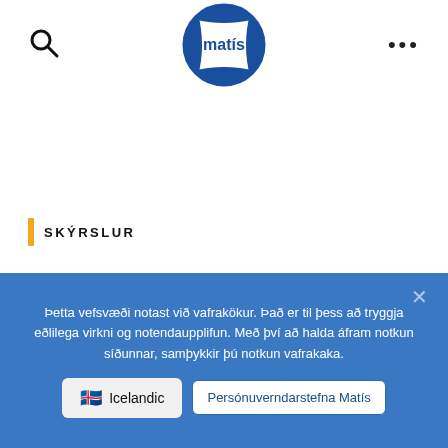[Figure (logo): Matís circular logo with blue pentagon/football segments and 'matís' text in the center]
SKÝRSLUR
Veiðar, vinnsla og útflutningur á lifandi
Þetta vefsvæði notast við vafrakökur. Það er til þess að tryggja eðlilega virkni og notendaupplifun. Með því að halda áfram notkun síðunnar, samþykkir þú notkun vafrakaka.
Icelandic
Persónuverndarstefna Matís